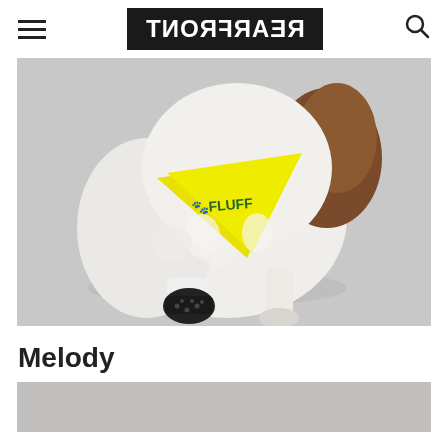REARFRONT (logo, mirrored/reversed text)
[Figure (photo): A small fluffy white and brown dog wearing a yellow bandana labeled 'FLUFF' with a green paw print, and a black dog boot/shoe on one front paw. The dog is posed on a gray background.]
Melody
[Figure (photo): Partial bottom of a second photo, showing a gray/neutral background, content cut off.]